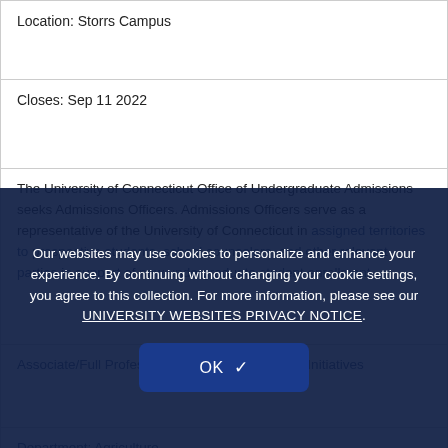Location: Storrs Campus
Closes: Sep 11 2022
The University of Connecticut Office of Undergraduate Admissions seeks Admissions Officers. Admissions Officers serve as a representative of the University of Connecticut in assigned territories to prospective students, school counselors, and other relevant parties in support of new undergraduate student enrollment.
Associate/Full Professor, Director of One Health Initiatives
Department: Agriculture
Search #: 496406
Location: Storrs Campus
Closes: Sep 30 2022
[Figure (other): Cookie consent overlay dialog with text: 'Our websites may use cookies to personalize and enhance your experience. By continuing without changing your cookie settings, you agree to this collection. For more information, please see our UNIVERSITY WEBSITES PRIVACY NOTICE.' and an OK button with checkmark.]